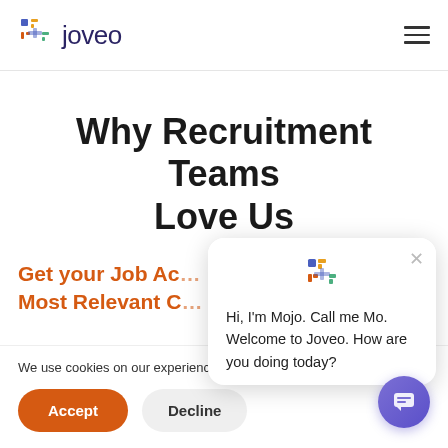joveo
Why Recruitment Teams Love Us
Get your Job Ac...
Most Relevant C...
We use cookies on our experience on our website. More info
[Figure (screenshot): Chat popup from Mojo saying: Hi, I'm Mojo. Call me Mo. Welcome to Joveo. How are you doing today?]
Accept
Decline